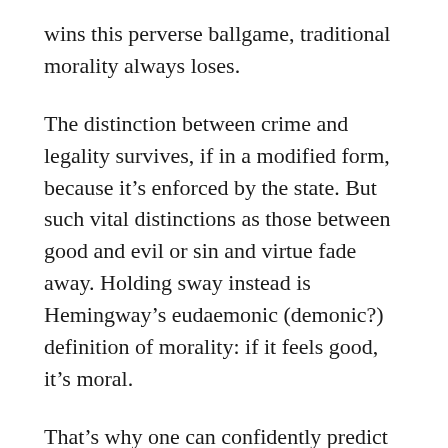wins this perverse ballgame, traditional morality always loses.
The distinction between crime and legality survives, if in a modified form, because it's enforced by the state. But such vital distinctions as those between good and evil or sin and virtue fade away. Holding sway instead is Hemingway's eudaemonic (demonic?) definition of morality: if it feels good, it's moral.
That's why one can confidently predict that many other things that make some people feel good will soon acquire an equal status. Necrophilia, bestiality, incest – use your own